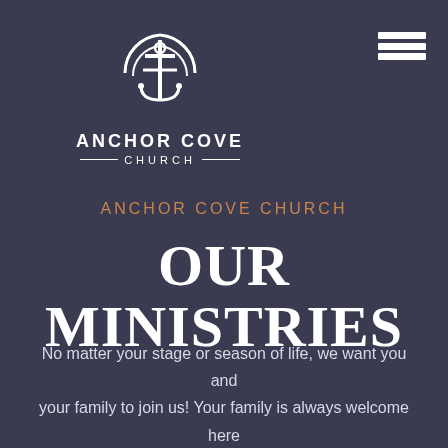[Figure (logo): Anchor Cove Church logo: anchor with cross inside circular arc design, white on dark background, with text ANCHOR COVE CHURCH below]
[Figure (other): Hamburger menu icon: three horizontal white bars in top-right corner]
ANCHOR COVE CHURCH
OUR MINISTRIES
No matter your stage or season of life, we want you and your family to join us! Your family is always welcome here at Anchor Cove.